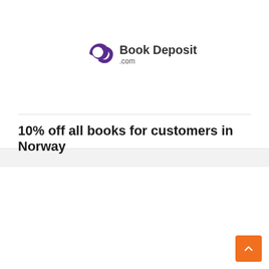[Figure (logo): Book Depository .com logo — purple circular arrow icon with text 'Book Depository .com']
10% off all books for customers in Norway
[Figure (logo): GameStop logo — black bold text 'Game' and red bold text 'Stop' with registered mark, tagline 'power to the players']